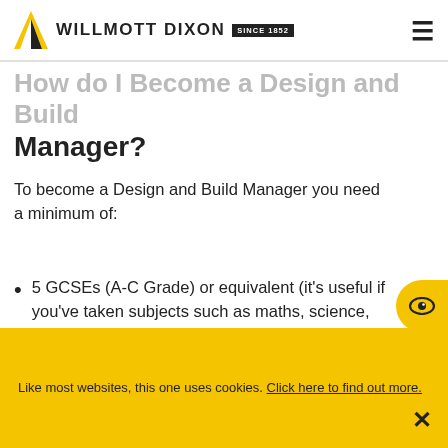WILLMOTT DIXON SINCE 1852
How do I become a Design and Build Manager?
To become a Design and Build Manager you need a minimum of:
5 GCSEs (A-C Grade) or equivalent (it's useful if you've taken subjects such as maths, science, geography, information technology or design technology)
A BTEC in Building Studies, Building
Like most websites, this one uses cookies. Click here to find out more.